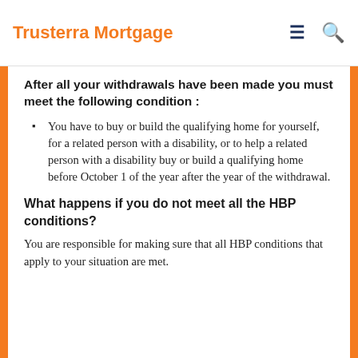Trusterra Mortgage
You cannot withdraw more than $25,000…
After all your withdrawals have been made you must meet the following condition :
You have to buy or build the qualifying home for yourself, for a related person with a disability, or to help a related person with a disability buy or build a qualifying home before October 1 of the year after the year of the withdrawal.
What happens if you do not meet all the HBP conditions?
You are responsible for making sure that all HBP conditions that apply to your situation are met.